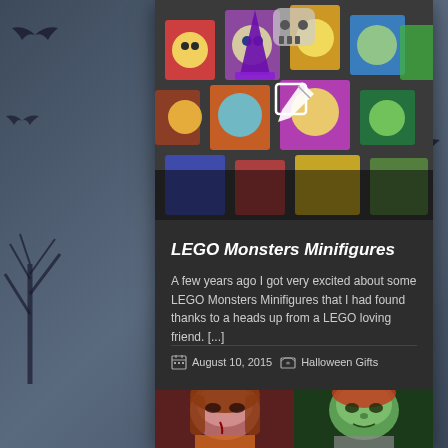[Figure (screenshot): Blog card with LEGO Monsters Minifigures image at top showing colorful LEGO monster characters, with a pencil/edit icon overlay. Below is dark card body with title, text excerpt, metadata. Background is dark blue-grey with bat and tree silhouettes.]
LEGO Monsters Minifigures
A few years ago I got very excited about some LEGO Monsters Minifigures that I had found thanks to a heads up from a LEGO loving friend. [...]
August 10, 2015   Halloween Gifts
[Figure (photo): Two children with Halloween face paint - one with zombie/vampire makeup with blood and one with green zombie monster face paint.]